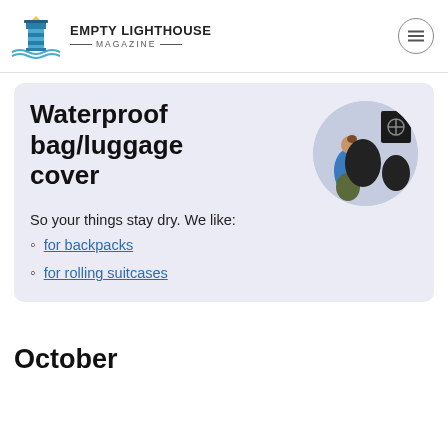EMPTY LIGHTHOUSE MAGAZINE
Waterproof bag/luggage cover
[Figure (photo): Circular photo of a person wearing a blue jacket with a waterproof backpack cover, alongside product images of black waterproof covers]
So your things stay dry. We like:
for backpacks
for rolling suitcases
October